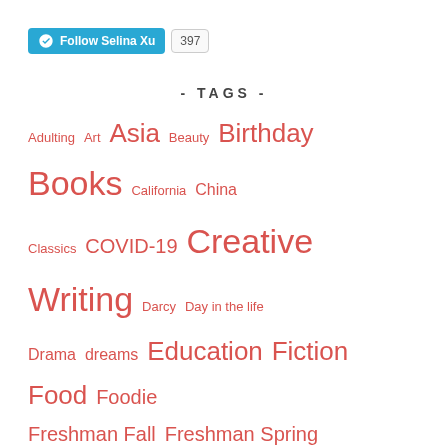[Figure (other): WordPress Follow button for Selina Xu blog with follower count 397]
- TAGS -
Adulting Art Asia Beauty Birthday Books California China Classics COVID-19 Creative Writing Darcy Day in the life Drama dreams Education Fiction Food Foodie Freshman Fall Freshman Spring Friendship Gap Year Harvard Harvard China Forum Harvard Classes Harvard Summer School Health Ideas Inspiration Internship Jane Austen Japan Journalism Junior Fall Junior Spring Kdrama Kyoto Late night thoughts Life Choice Life